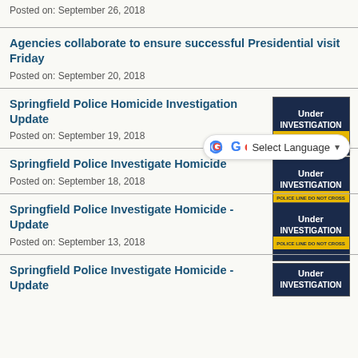Posted on: September 26, 2018
Agencies collaborate to ensure successful Presidential visit Friday
Posted on: September 20, 2018
Springfield Police Homicide Investigation Update
Posted on: September 19, 2018
[Figure (photo): Under Investigation police tape image]
Springfield Police Investigate Homicide
Posted on: September 18, 2018
[Figure (photo): Under Investigation police tape image]
Springfield Police Investigate Homicide - Update
Posted on: September 13, 2018
[Figure (photo): Under Investigation police tape image]
Springfield Police Investigate Homicide - Update
[Figure (photo): Under Investigation police tape image]